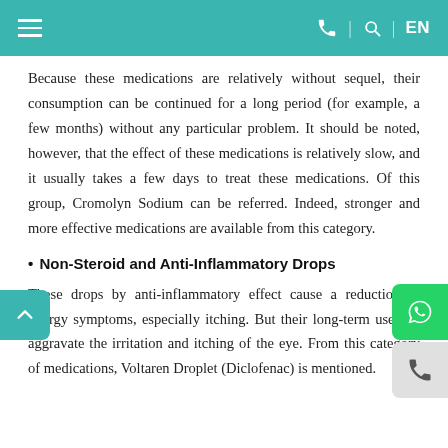≡  🕿 | 🔍 | EN
Because these medications are relatively without sequel, their consumption can be continued for a long period (for example, a few months) without any particular problem. It should be noted, however, that the effect of these medications is relatively slow, and it usually takes a few days to treat these medications. Of this group, Cromolyn Sodium can be referred. Indeed, stronger and more effective medications are available from this category.
• Non-Steroid and Anti-Inflammatory Drops
These drops by anti-inflammatory effect cause a reduction in allergy symptoms, especially itching. But their long-term use can aggravate the irritation and itching of the eye. From this category of medications, Voltaren Droplet (Diclofenac) is mentioned.